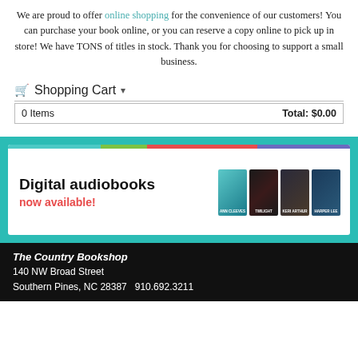We are proud to offer online shopping for the convenience of our customers! You can purchase your book online, or you can reserve a copy online to pick up in store! We have TONS of titles in stock. Thank you for choosing to support a small business.
🛒 Shopping Cart ▾
| 0 Items | Total: $0.00 |
| --- | --- |
[Figure (screenshot): Digital audiobooks advertisement banner with colorful stripe header, bold black text 'Digital audiobooks' and red text 'now available!', with four book covers on the right side.]
The Country Bookshop
140 NW Broad Street
Southern Pines, NC 28387   910.692.3211